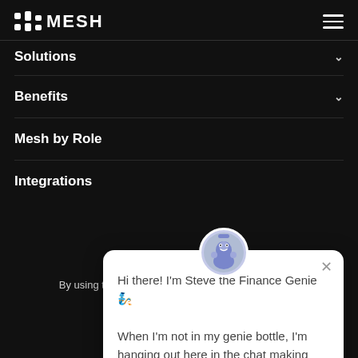MESH
Solutions
Benefits
Mesh by Role
Integrations
[Figure (screenshot): Chat popup from Steve the Finance Genie with avatar, close button, and greeting message: 'Hi there! I'm Steve the Finance Genie 🧞 When I'm not in my genie bottle, I'm hanging out here in the chat making finance wishes come true.']
By using this website you agree to our cookie policy.
OK